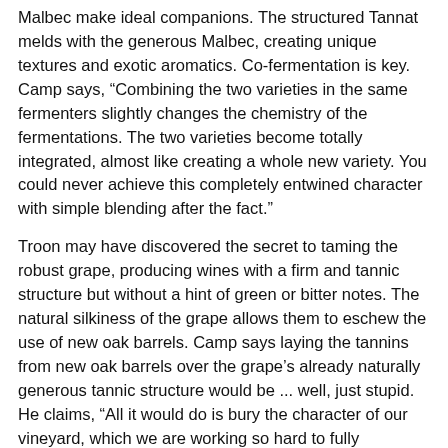Malbec make ideal companions. The structured Tannat melds with the generous Malbec, creating unique textures and exotic aromatics. Co-fermentation is key. Camp says, “Combining the two varieties in the same fermenters slightly changes the chemistry of the fermentations. The two varieties become totally integrated, almost like creating a whole new variety. You could never achieve this completely entwined character with simple blending after the fact.”
Troon may have discovered the secret to taming the robust grape, producing wines with a firm and tannic structure but without a hint of green or bitter notes. The natural silkiness of the grape allows them to eschew the use of new oak barrels. Camp says laying the tannins from new oak barrels over the grape’s already naturally generous tannic structure would be ... well, just stupid. He claims, “All it would do is bury the character of our vineyard, which we are working so hard to fully express.”
Other Oregon wineries in hot pursuit of Tannat include Teutonic Winery, which previously produced the region’s only white Tannat. When asked why the brand is no longer making it, co-owner Olga Tuttle says, “We just can’t get any more fruit. If we could, we would. It’s in high demand. I have